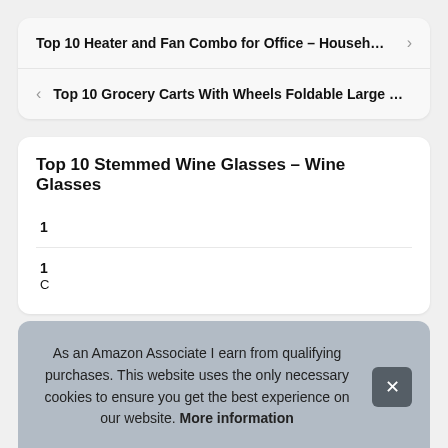Top 10 Heater and Fan Combo for Office – Househ…
Top 10 Grocery Carts With Wheels Foldable Large …
Top 10 Stemmed Wine Glasses – Wine Glasses
As an Amazon Associate I earn from qualifying purchases. This website uses the only necessary cookies to ensure you get the best experience on our website. More information